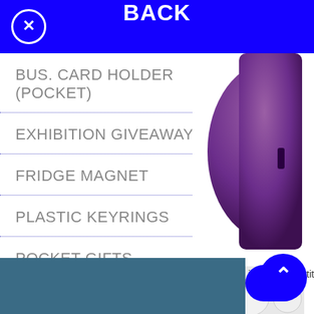BACK
BUS. CARD HOLDER (POCKET)
EXHIBITION GIVEAWAYS
FRIDGE MAGNET
PLASTIC KEYRINGS
POCKET GIFTS
[Figure (photo): Purple plastic object, partially visible on right side]
[Figure (photo): White round pills/mints scattered together]
inimum Quantities